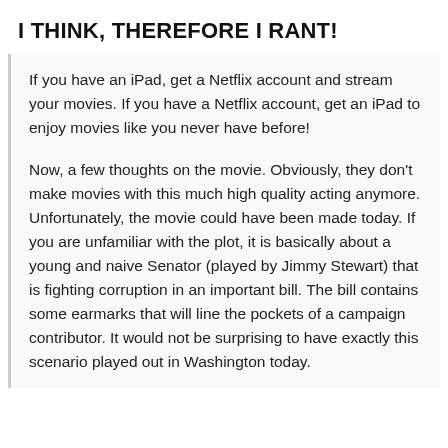I THINK, THEREFORE I RANT!
If you have an iPad, get a Netflix account and stream your movies. If you have a Netflix account, get an iPad to enjoy movies like you never have before!
Now, a few thoughts on the movie. Obviously, they don't make movies with this much high quality acting anymore. Unfortunately, the movie could have been made today. If you are unfamiliar with the plot, it is basically about a young and naive Senator (played by Jimmy Stewart) that is fighting corruption in an important bill. The bill contains some earmarks that will line the pockets of a campaign contributor. It would not be surprising to have exactly this scenario played out in Washington today.